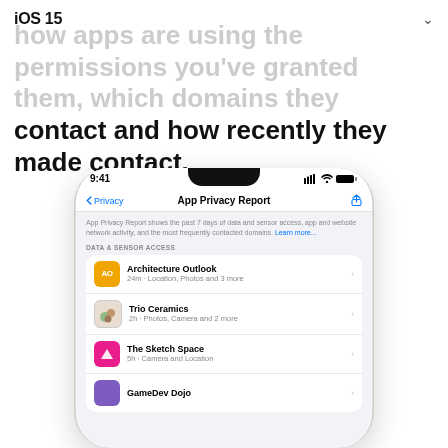iOS 15
how apps are using the permissions you've granted them, which domains they contact and how recently they made contact.
[Figure (screenshot): iPhone showing the App Privacy Report screen in iOS 15 Settings. The screen lists apps under 'Data & Sensor Access': Architecture Outlook (24m · Location, Photos and 3 more), Trio Ceramics (2h · Photos, Camera and 2 more), The Sketch Space (5h · Camera and Location), and GameDev Dojo (partially visible).]